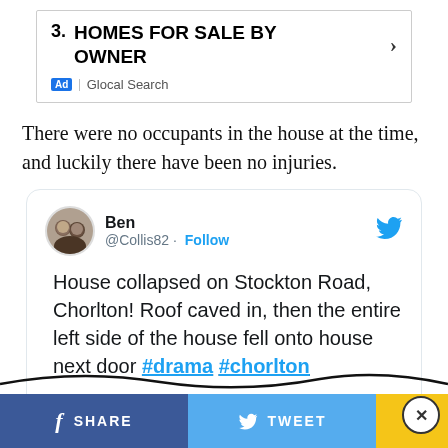[Figure (screenshot): Advertisement box with number 3, bold heading 'HOMES FOR SALE BY OWNER', right arrow, and Ad badge with 'Glocal Search']
There were no occupants in the house at the time, and luckily there have been no injuries.
[Figure (screenshot): Embedded tweet from @Collis82 (Ben) with text: 'House collapsed on Stockton Road, Chorlton! Roof caved in, then the entire left side of the house fell onto house next door #drama #chorlton']
[Figure (screenshot): Social share bar at bottom with Facebook SHARE, Twitter TWEET, and more (...) buttons]